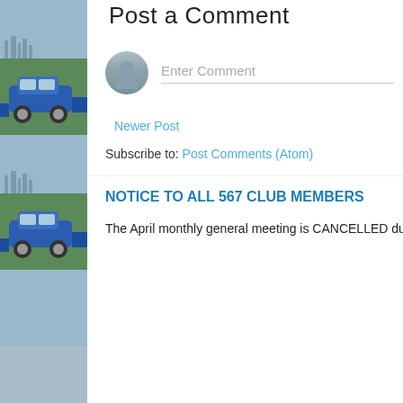[Figure (photo): Sidebar with repeated photo of a blue vintage car on green grass with city skyline in background]
Post a Comment
[Figure (illustration): User avatar circle icon with silhouette and comment input field placeholder 'Enter Comment']
Newer Post
Subscribe to: Post Comments (Atom)
NOTICE TO ALL 567 CLUB MEMBERS
The April monthly general meeting is CANCELLED due to Covid-19 is